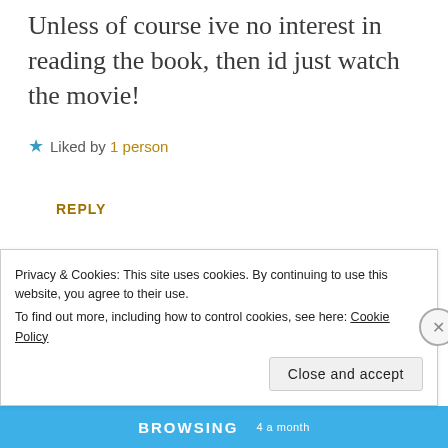Unless of course ive no interest in reading the book, then id just watch the movie!
★ Liked by 1 person
REPLY
Privacy & Cookies: This site uses cookies. By continuing to use this website, you agree to their use. To find out more, including how to control cookies, see here: Cookie Policy
Close and accept
BROWSING